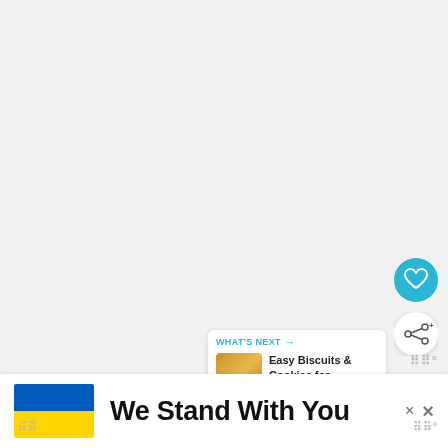[Figure (screenshot): UI screenshot showing a light gray background with a teal heart/favorite button, a white share button with a share icon, a 'WHAT'S NEXT' panel thumbnail with 'Easy Biscuits & Cookies for...' text, and a banner at the bottom with the Ukrainian flag and text 'We Stand With You', plus close/X buttons.]
WHAT'S NEXT →
Easy Biscuits & Cookies for...
We Stand With You